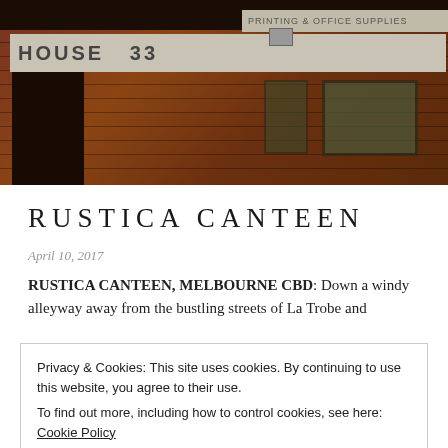[Figure (photo): Exterior photo of a brick building with a concrete sign reading 'HOUSE 33', showing a red brick facade with windows and a door entrance.]
RUSTICA CANTEEN
April 10, 2017
RUSTICA CANTEEN, MELBOURNE CBD: Down a windy alleyway away from the bustling streets of La Trobe and
Privacy & Cookies: This site uses cookies. By continuing to use this website, you agree to their use.
To find out more, including how to control cookies, see here: Cookie Policy
Close and accept
that tantalise the tongue, and dishes of aesthetic artistry.